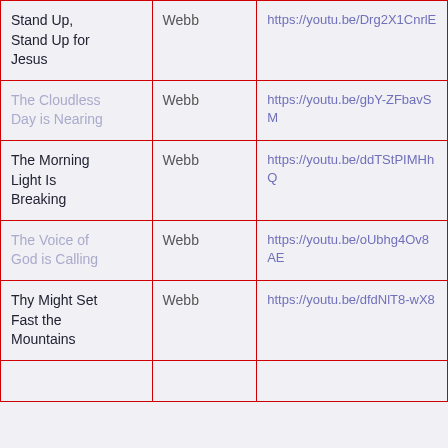| Stand Up, Stand Up for Jesus | Webb | https://youtu.be/Drg2X1CnrlE |
| The Cloudless Day is Nearing | Webb | https://youtu.be/gbY-ZFbavSM |
| The Morning Light Is Breaking | Webb | https://youtu.be/ddTStPIMHhQ |
| The Voice of God is Calling | Webb | https://youtu.be/oUbhg4Ov8AE |
| Thy Might Set Fast the Mountains | Webb | https://youtu.be/dfdNlT8-wX8 |
|  |  |  |